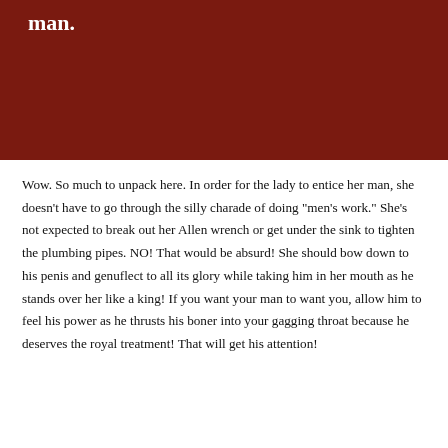[Figure (photo): Dark reddish-brown image with the word 'man.' visible in white text at the top left]
Wow. So much to unpack here. In order for the lady to entice her man, she doesn’t have to go through the silly charade of doing “men’s work.” She’s not expected to break out her Allen wrench or get under the sink to tighten the plumbing pipes. NO! That would be absurd! She should bow down to his penis and genuflect to all its glory while taking him in her mouth as he stands over her like a king! If you want your man to want you, allow him to feel his power as he thrusts his boner into your gagging throat because he deserves the royal treatment! That will get his attention!